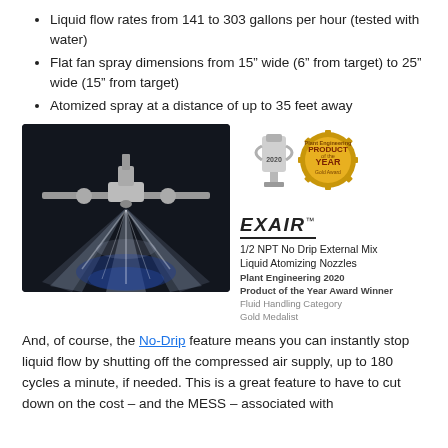Liquid flow rates from 141 to 303 gallons per hour (tested with water)
Flat fan spray dimensions from 15″ wide (6″ from target) to 25″ wide (15″ from target)
Atomized spray at a distance of up to 35 feet away
[Figure (photo): Photo of an atomizing spray nozzle in action against a dark background, producing a wide flat fan spray pattern with visible mist.]
[Figure (photo): EXAIR Product of the Year 2020 award trophy with Plant Engineering badge]
EXAIR™
1/2 NPT No Drip External Mix Liquid Atomizing Nozzles
Plant Engineering 2020 Product of the Year Award Winner
Fluid Handling Category
Gold Medalist
And, of course, the No-Drip feature means you can instantly stop liquid flow by shutting off the compressed air supply, up to 180 cycles a minute, if needed. This is a great feature to have to cut down on the cost – and the MESS – associated with overspraying.